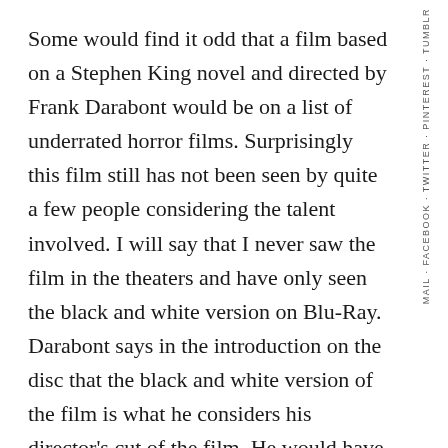Some would find it odd that a film based on a Stephen King novel and directed by Frank Darabont would be on a list of underrated horror films. Surprisingly this film still has not been seen by quite a few people considering the talent involved. I will say that I never saw the film in the theaters and have only seen the black and white version on Blu-Ray. Darabont says in the introduction on the disc that the black and white version of the film is what he considers his director's cut of the film. He would have loved to film it in black and white but the studio balked at the idea. After you watch the black and white version you will simply never want to view it any other way. It adds a whole
MAIL · FACEBOOK · TWITTER · PINTEREST · TUMBLR